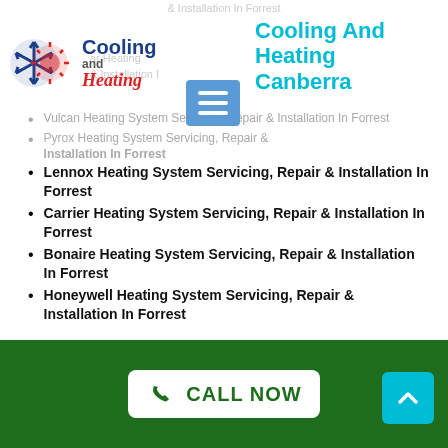[Figure (logo): Cooling and Heating logo with snowflake/sun icon in blue and red, text 'Cooling and Heating' in blue and red script]
Cooling And Heating Canberra
Vulcan Heating System Servicing, Repair & Installation In Forrest
Pyrox Heating System Servicing, Repair & Installation In Forrest
Lennox Heating System Servicing, Repair & Installation In Forrest
Carrier Heating System Servicing, Repair & Installation In Forrest
Bonaire Heating System Servicing, Repair & Installation In Forrest
Honeywell Heating System Servicing, Repair & Installation In Forrest
CALL NOW